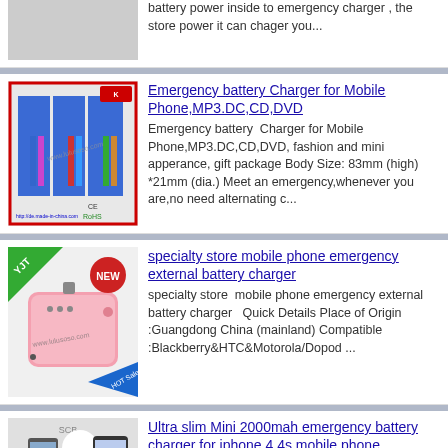[Figure (screenshot): Partial top of a product listing showing a gray product image thumbnail and truncated description text about battery power inside to emergency charger.]
battery power inside to emergency charger , the store power it can chager you...
[Figure (photo): Product image of Emergency battery Charger for Mobile Phone MP3 DC CD DVD - multiple colored pen-style chargers in blue retail packaging with RoHS and CE marks, watermarked www.lulusoso.com]
Emergency battery Charger for Mobile Phone,MP3.DC,CD,DVD
Emergency battery  Charger for Mobile Phone,MP3.DC,CD,DVD, fashion and mini apperance, gift package Body Size: 83mm (high) *21mm (dia.) Meet an emergency,whenever you are,no need alternating c...
[Figure (photo): Product image of specialty store mobile phone emergency external battery charger - pink square battery pack with NEW badge and HOT SALE ribbon, watermarked www.lulusoso.com]
specialty store mobile phone emergency external battery charger
specialty store  mobile phone emergency external battery charger   Quick Details Place of Origin :Guangdong China (mainland) Compatible :Blackberry&HTC&Motorola/Dopod ...
[Figure (photo): Partial product image of Ultra slim Mini 2000mah emergency battery charger for iphone 4 4s mobile phone wholesale - showing phone and music player devices with SCB branding]
Ultra slim Mini 2000mah emergency battery charger for iphone 4 4s mobile phone wholesale